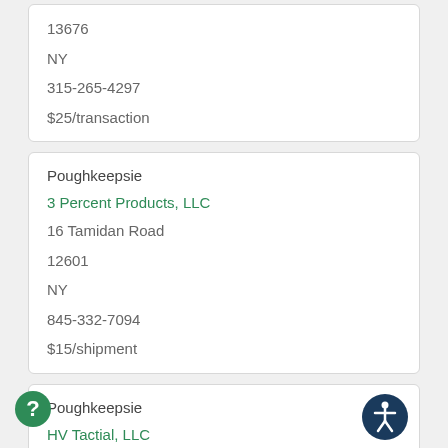13676
NY
315-265-4297
$25/transaction
Poughkeepsie
3 Percent Products, LLC
16 Tamidan Road
12601
NY
845-332-7094
$15/shipment
Poughkeepsie
HV Tactial, LLC